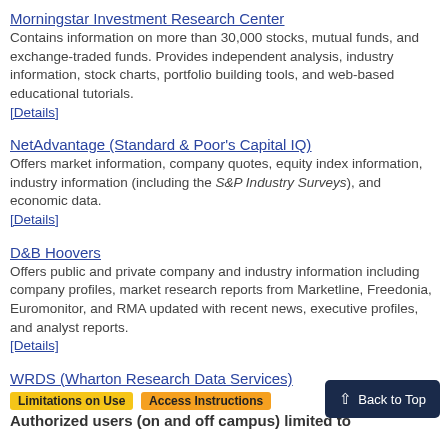Morningstar Investment Research Center
Contains information on more than 30,000 stocks, mutual funds, and exchange-traded funds. Provides independent analysis, industry information, stock charts, portfolio building tools, and web-based educational tutorials.
[Details]
NetAdvantage (Standard & Poor's Capital IQ)
Offers market information, company quotes, equity index information, industry information (including the S&P Industry Surveys), and economic data.
[Details]
D&B Hoovers
Offers public and private company and industry information including company profiles, market research reports from Marketline, Freedonia, Euromonitor, and RMA updated with recent news, executive profiles, and analyst reports.
[Details]
WRDS (Wharton Research Data Services)
[Limitations on Use] [Access Instructions]
Authorized users (on and off campus) limited to